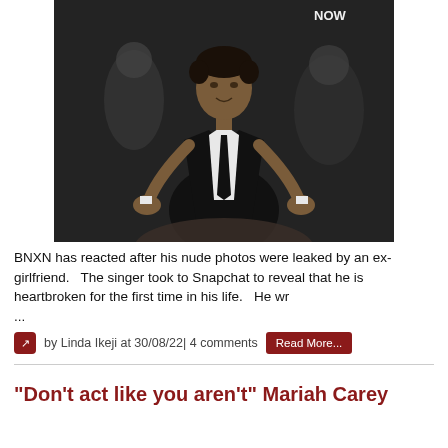[Figure (photo): Man in black suit with white shirt and black tie, gesturing with both hands open, at an indoor event. Background shows other people and venue signage including 'NOW'.]
BNXN has reacted after his nude photos were leaked by an ex-girlfriend.   The singer took to Snapchat to reveal that he is heartbroken for the first time in his life.   He wr
...
by Linda Ikeji at 30/08/22| 4 comments
"Don't act like you aren't" Mariah Carey